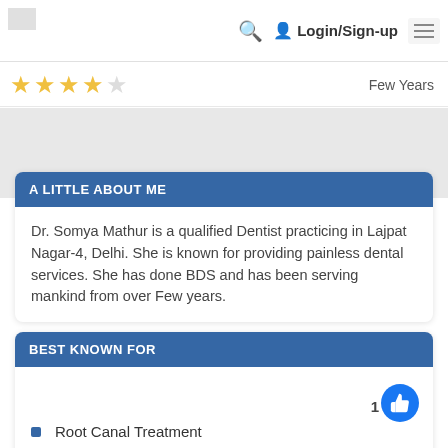Login/Sign-up
[Figure (other): 4 out of 5 star rating with text 'Few Years']
A LITTLE ABOUT ME
Dr. Somya Mathur is a qualified Dentist practicing in Lajpat Nagar-4, Delhi. She is known for providing painless dental services. She has done BDS and has been serving mankind from over Few years.
BEST KNOWN FOR
Root Canal Treatment
Dental Implants
Crown and Bridges